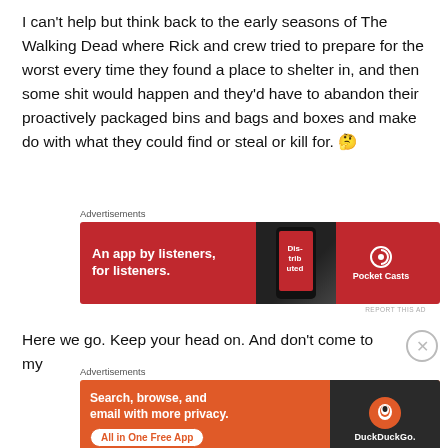I can't help but think back to the early seasons of The Walking Dead where Rick and crew tried to prepare for the worst every time they found a place to shelter in, and then some shit would happen and they'd have to abandon their proactively packaged bins and bags and boxes and make do with what they could find or steal or kill for. 🤔
[Figure (screenshot): Pocket Casts advertisement: red background with text 'An app by listeners, for listeners.' and Pocket Casts logo with a phone image]
Here we go. Keep your head on. And don't come to my
[Figure (screenshot): DuckDuckGo advertisement: orange background with text 'Search, browse, and email with more privacy. All in One Free App' and DuckDuckGo logo on dark phone background]